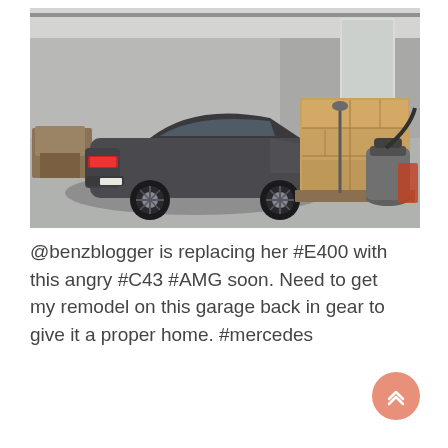[Figure (photo): A dark grey Mercedes-Benz convertible (C43 AMG) parked inside a garage. To the right are stacked cardboard boxes on a pallet with a pallet jack, along with a shop vacuum and other items. The garage has a concrete floor and grey walls.]
@benzblogger is replacing her #E400 with this angry #C43 #AMG soon. Need to get my remodel on this garage back in gear to give it a proper home. #mercedes